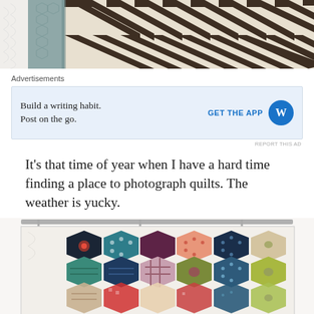[Figure (photo): Close-up photo of a quilt showing chevron/herringbone pattern fabric in dark brown/cream stripes and a gray hexagon fabric]
[Figure (infographic): WordPress advertisement banner: 'Build a writing habit. Post on the go.' with GET THE APP button and WordPress logo]
It's that time of year when I have a hard time finding a place to photograph quilts. The weather is yucky.
[Figure (photo): Photo of a hexagon quilt hanging on a rod, featuring colorful patchwork hexagons in various fabrics including floral, plaid, polka dot, and geometric patterns on a white background]